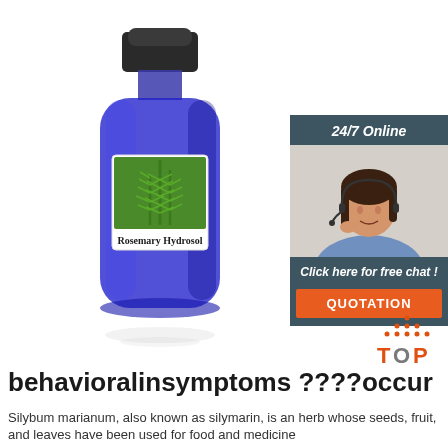[Figure (photo): Blue glass bottle of Rosemary Hydrosol with a label showing rosemary herb sprigs on a green background, with a black cap]
[Figure (photo): 24/7 Online chat panel with a female customer service agent wearing a headset, smiling, with 'Click here for free chat!' text and an orange QUOTATION button]
[Figure (logo): TOP logo with orange dotted triangle/arrow shape above the letters TOP in orange and gray]
behavioralinsymptoms ????occur
Silybum marianum, also known as silymarin, is an herb whose seeds, fruit, and leaves have been used for food and medicine